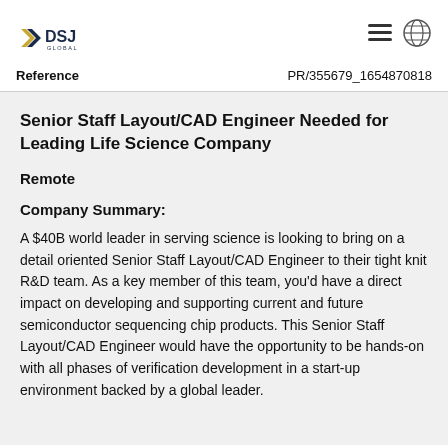DSJ Global | Reference: PR/355679_1654870818
Senior Staff Layout/CAD Engineer Needed for Leading Life Science Company
Remote
Company Summary:
A $40B world leader in serving science is looking to bring on a detail oriented Senior Staff Layout/CAD Engineer to their tight knit R&D team. As a key member of this team, you'd have a direct impact on developing and supporting current and future semiconductor sequencing chip products. This Senior Staff Layout/CAD Engineer would have the opportunity to be hands-on with all phases of verification development in a start-up environment backed by a global leader.